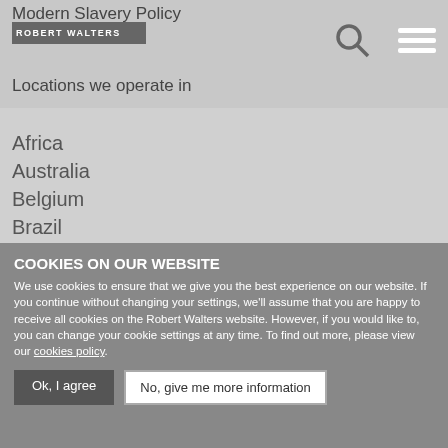Modern Slavery Policy
Locations we operate in
Africa
Australia
Belgium
Brazil
Canada
France
Germany
Hong Kong
Indonesia
COOKIES ON OUR WEBSITE
We use cookies to ensure that we give you the best experience on our website. If you continue without changing your settings, we'll assume that you are happy to receive all cookies on the Robert Walters website. However, if you would like to, you can change your cookie settings at any time. To find out more, please view our cookies policy.
Ok, I agree | No, give me more information